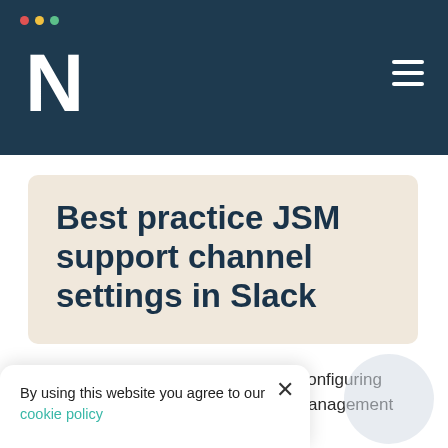[Figure (logo): Dark navy header bar with white N logo and hamburger menu icon, and traffic light dots in top left]
Best practice JSM support channel settings in Slack
Learn how best in class teams are configuring Slack first support for Jira Service Management
By using this website you agree to our cookie policy